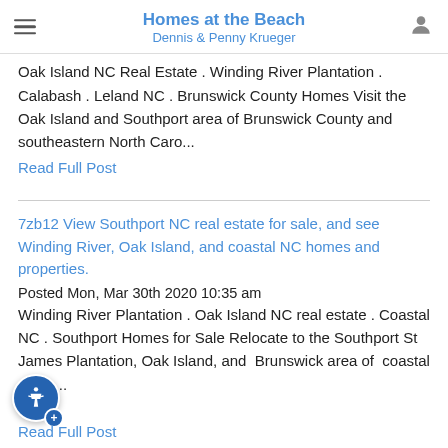Homes at the Beach
Dennis & Penny Krueger
Oak Island NC Real Estate . Winding River Plantation . Calabash . Leland NC . Brunswick County Homes Visit the Oak Island and Southport area of Brunswick County and southeastern North Caro...
Read Full Post
7zb12 View Southport NC real estate for sale, and see Winding River, Oak Island, and coastal NC homes and properties.
Posted Mon, Mar 30th 2020 10:35 am
Winding River Plantation . Oak Island NC real estate . Coastal NC . Southport Homes for Sale Relocate to the Southport St James Plantation, Oak Island, and  Brunswick  area of  coastal and s...
Read Full Post